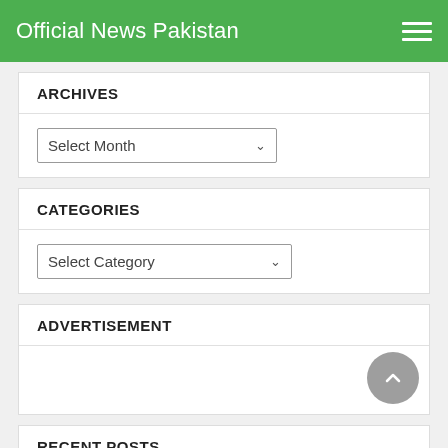Official News Pakistan
ARCHIVES
[Figure (screenshot): Select Month dropdown control]
CATEGORIES
[Figure (screenshot): Select Category dropdown control]
ADVERTISEMENT
RECENT POSTS